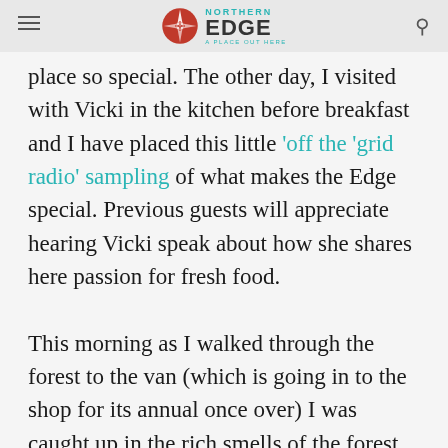NORTHERN EDGE
place so special. The other day, I visited with Vicki in the kitchen before breakfast and I have placed this little 'off the 'grid radio' sampling of what makes the Edge special. Previous guests will appreciate hearing Vicki speak about how she shares here passion for fresh food.

This morning as I walked through the forest to the van (which is going in to the shop for its annual once over) I was caught up in the rich smells of the forest and appreciated the dappled morning light on dew-covered leaves. I haven't quite figured out how to get the smells of the Edge on the Web, but you can be sure when the techies figure that one out I'll be all